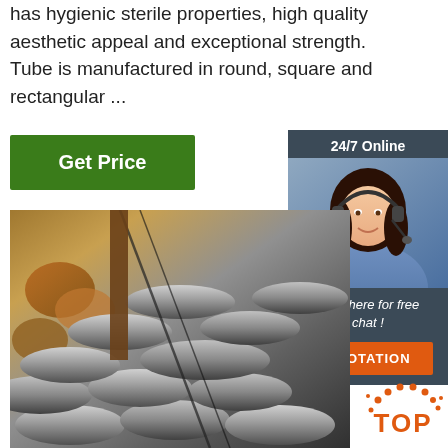has hygienic sterile properties, high quality aesthetic appeal and exceptional strength. Tube is manufactured in round, square and rectangular ...
Get Price
[Figure (infographic): 24/7 Online customer support widget with woman wearing headset and a QUOTATION button]
[Figure (photo): Stack of steel round bars/rods piled together, with some rusty pipes visible in the background]
[Figure (logo): TOP badge with orange dotted arc above the text]